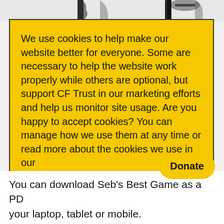[Figure (illustration): Top strip showing partial view of an illustrated scene with decorative characters/figures in black and white]
We use cookies to help make our website better for everyone. Some are necessary to help the website work properly while others are optional, but support CF Trust in our marketing efforts and help us monitor site usage. Are you happy to accept cookies? You can manage how we use them at any time or read more about the cookies we use in our Cookie Policy
Manage my cookies
Yes, I am happy
You can download Seb's Best Game as a PD your laptop, tablet or mobile.
Donate